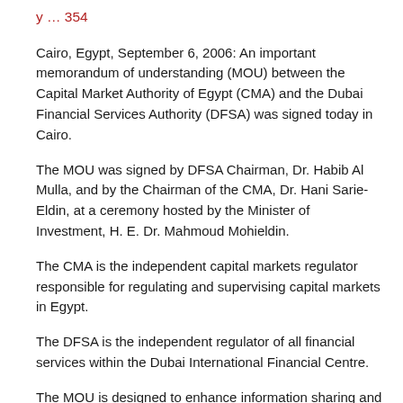y ... 354
Cairo, Egypt, September 6, 2006: An important memorandum of understanding (MOU) between the Capital Market Authority of Egypt (CMA) and the Dubai Financial Services Authority (DFSA) was signed today in Cairo.
The MOU was signed by DFSA Chairman, Dr. Habib Al Mulla, and by the Chairman of the CMA, Dr. Hani Sarie-Eldin, at a ceremony hosted by the Minister of Investment, H. E. Dr. Mahmoud Mohieldin.
The CMA is the independent capital markets regulator responsible for regulating and supervising capital markets in Egypt.
The DFSA is the independent regulator of all financial services within the Dubai International Financial Centre.
The MOU is designed to enhance information sharing and cooperation between the two authorities, particularly in their common roles as securities regulators. This document will